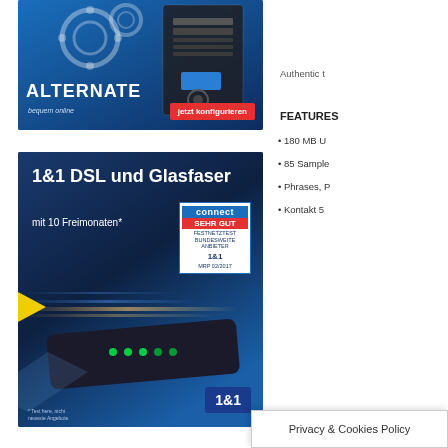[Figure (photo): ALTERNATE computer hardware advertisement with blue background showing PC tower with gears, text 'ALTERNATE bequem online' and red button 'jetzt konfigurieren']
Authentic t
FEATURES
• 180 MB U
• 85 Sample
• Phrases, P
• Kontakt 5
[Figure (photo): 1&1 DSL und Glasfaser advertisement with dark blue background showing a router/modem device with light streaks, connect 'Sehr Gut' badge, text '1&1 DSL und Glasfaser mit 10 Freimonaten*']
Privacy & Cookies Policy